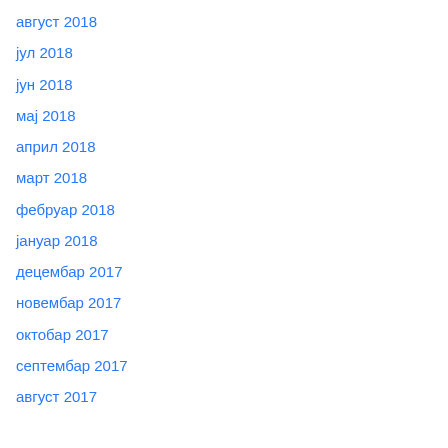август 2018
јул 2018
јун 2018
мај 2018
април 2018
март 2018
фебруар 2018
јануар 2018
децембар 2017
новембар 2017
октобар 2017
септембар 2017
август 2017